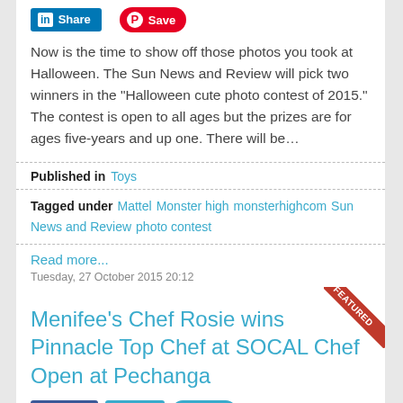Now is the time to show off those photos you took at Halloween. The Sun News and Review will pick two winners in the "Halloween cute photo contest of 2015." The contest is open to all ages but the prizes are for ages five-years and up one. There will be…
Published in  Toys
Tagged under  Mattel  Monster high  monsterhighcom  Sun News and Review  photo contest
Read more...
Tuesday, 27 October 2015 20:12
Menifee's Chef Rosie wins Pinnacle Top Chef at SOCAL Chef Open at Pechanga